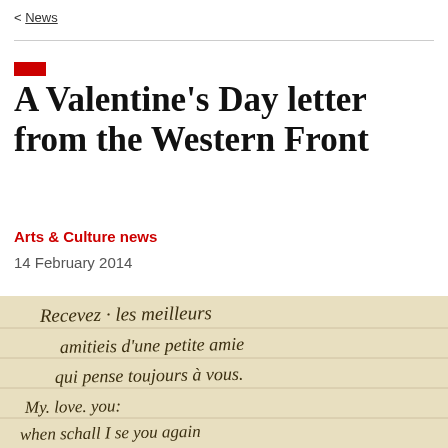< News
A Valentine’s Day letter from the Western Front
Arts & Culture news
14 February 2014
[Figure (photo): Handwritten letter in cursive script on aged paper, with French and English text reading: 'Recevez les meilleurs amitieis d'une petite amie qui pense toujours a vous. My love you: when schall I se you again' followed by kisses marked as xxx symbols]